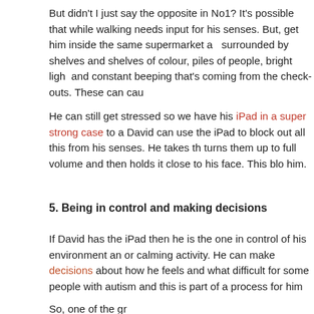But didn't I just say the opposite in No1? It's possible that while walking needs input for his senses. But, get him inside the same supermarket and surrounded by shelves and shelves of colour, piles of people, bright light and constant beeping that's coming from the check-outs. These can cau...
He can still get stressed so we have his iPad in a super strong case to a... David can use the iPad to block out all this from his senses. He takes th... turns them up to full volume and then holds it close to his face. This blo... him.
5. Being in control and making decisions
If David has the iPad then he is the one in control of his environment an... or calming activity. He can make decisions about how he feels and what... difficult for some people with autism and this is part of a process for him...
So, one of the greatest things about David's iPad is that he is using it to... himself with these things. Asking him to be without his iPad when he ne... walk. He might do it with support and therapy but it would be difficult.
If he is going to function in society then firstly I will encourage him to use... teach himself skills. Secondly, I will continue to look for and find other wa... involve communicating with others. And finally, I ask that you not judge t... An hour a day on device might be too much for some kids and not enou...